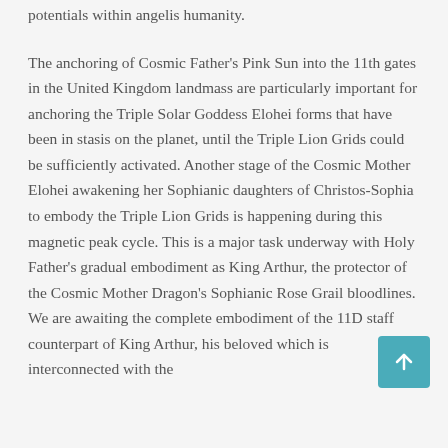potentials within angelis humanity.
The anchoring of Cosmic Father's Pink Sun into the 11th gates in the United Kingdom landmass are particularly important for anchoring the Triple Solar Goddess Elohei forms that have been in stasis on the planet, until the Triple Lion Grids could be sufficiently activated. Another stage of the Cosmic Mother Elohei awakening her Sophianic daughters of Christos-Sophia to embody the Triple Lion Grids is happening during this magnetic peak cycle. This is a major task underway with Holy Father's gradual embodiment as King Arthur, the protector of the Cosmic Mother Dragon's Sophianic Rose Grail bloodlines. We are awaiting the complete embodiment of the 11D staff counterpart of King Arthur, his beloved which is interconnected with the